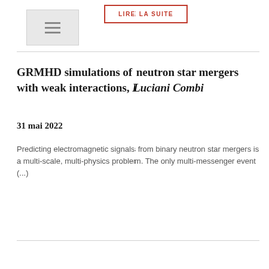[Figure (screenshot): Thumbnail placeholder with hamburger menu icon, grey box]
LIRE LA SUITE
GRMHD simulations of neutron star mergers with weak interactions, Luciani Combi
31 mai 2022
Predicting electromagnetic signals from binary neutron star mergers is a multi-scale, multi-physics problem. The only multi-messenger event (...)
LIRE LA SUITE
1 2 3 4 … 6